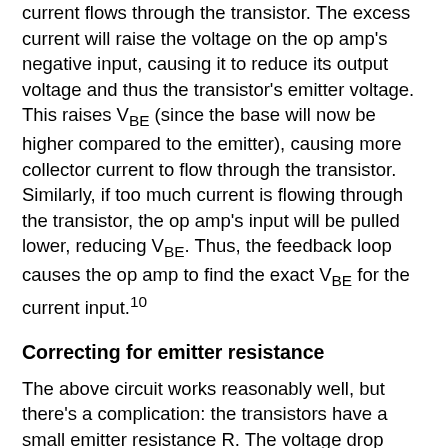current flows through the transistor. The excess current will raise the voltage on the op amp's negative input, causing it to reduce its output voltage and thus the transistor's emitter voltage. This raises V_BE (since the base will now be higher compared to the emitter), causing more collector current to flow through the transistor. Similarly, if too much current is flowing through the transistor, the op amp's input will be pulled lower, reducing V_BE. Thus, the feedback loop causes the op amp to find the exact V_BE for the current input.^10
Correcting for emitter resistance
The above circuit works reasonably well, but there's a complication: the transistors have a small emitter resistance R. The voltage drop across this resistance will increase V_BE by I_C R, disturbing the nice exponential behavior. This creates a nonlinearity that reduces the accuracy of the result. The datasheet says that "Raytheon has developed a unique and proprietary means of inherently compensating for this undesired term." They don't explain this further, but by studying the die I have figured out how it works.
In the next section I describe the details of how it eliminates